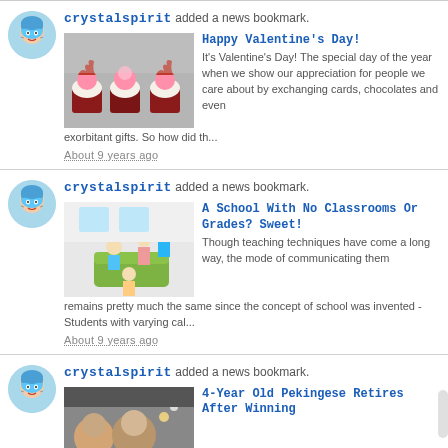crystalspirit added a news bookmark.
Happy Valentine's Day!
It's Valentine's Day! The special day of the year when we show our appreciation for people we care about by exchanging cards, chocolates and even exorbitant gifts. So how did th...
About 9 years ago
crystalspirit added a news bookmark.
A School With No Classrooms Or Grades? Sweet!
Though teaching techniques have come a long way, the mode of communicating them remains pretty much the same since the concept of school was invented - Students with varying cal...
About 9 years ago
crystalspirit added a news bookmark.
4-Year Old Pekingese Retires After Winning